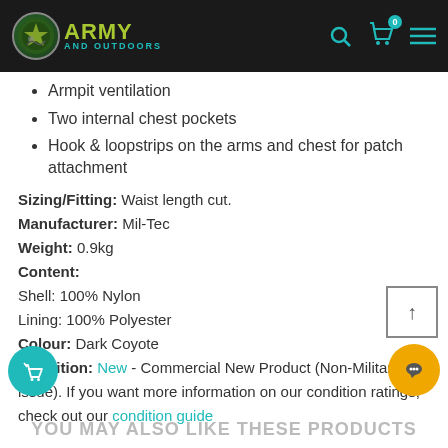Army and Outdoors
Armpit ventilation
Two internal chest pockets
Hook & loopstrips on the arms and chest for patch attachment
Sizing/Fitting: Waist length cut.
Manufacturer: Mil-Tec
Weight: 0.9kg
Content:
Shell: 100% Nylon
Lining: 100% Polyester
Colour: Dark Coyote
Condition: New - Commercial New Product (Non-Military issue). If you want more information on our condition ratings, check out our condition guide
YOU MAY ALSO LIKE THESE PRODUCTS